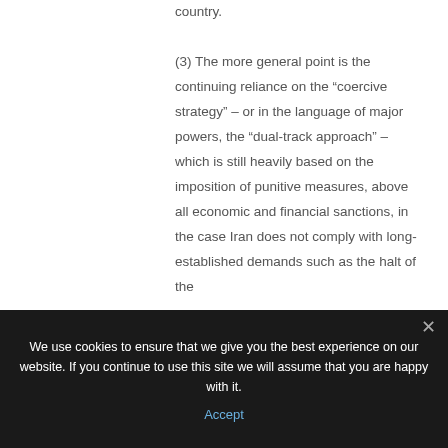country.
(3) The more general point is the continuing reliance on the “coercive strategy” – or in the language of major powers, the “dual-track approach” – which is still heavily based on the imposition of punitive measures, above all economic and financial sanctions, in the case Iran does not comply with long-established demands such as the halt of the
We use cookies to ensure that we give you the best experience on our website. If you continue to use this site we will assume that you are happy with it.
Accept